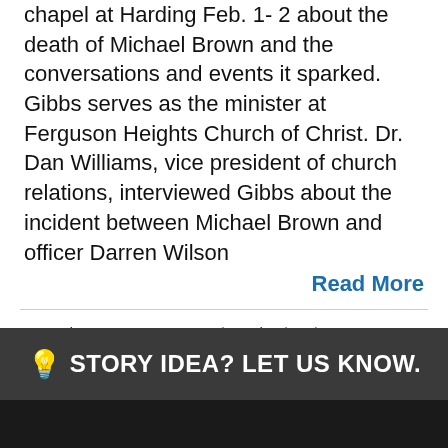chapel at Harding Feb. 1-2 about the death of Michael Brown and the conversations and events it sparked. Gibbs serves as the minister at Ferguson Heights Church of Christ. Dr. Dan Williams, vice president of church relations, interviewed Gibbs about the incident between Michael Brown and officer Darren Wilson
Read More
Categories: Campus & Community and University. Tags: Chapel and Spiritual Life.
💡 STORY IDEA? LET US KNOW.